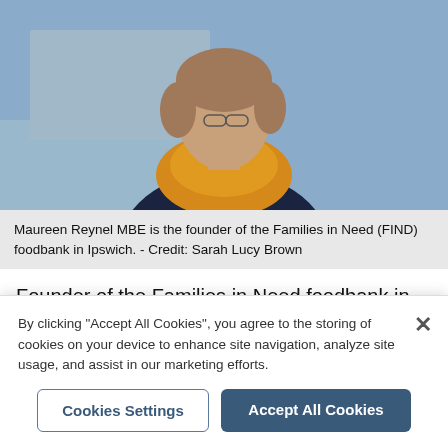[Figure (photo): Portrait photo of Maureen Reynel MBE wearing a dark navy cardigan and yellow/mustard scarf, standing outdoors against a grey-blue wall background.]
Maureen Reynel MBE is the founder of the Families in Need (FIND) foodbank in Ipswich. - Credit: Sarah Lucy Brown
Founder of the Families in Need foodbank in Ipswich Maureen Reynel MBE said: "At Ipswich FIND, agents refer people to us and the food parcels are sent out from there.
"Nobody will go hungry if you know about it. I would
By clicking “Accept All Cookies”, you agree to the storing of cookies on your device to enhance site navigation, analyze site usage, and assist in our marketing efforts.
Cookies Settings
Accept All Cookies